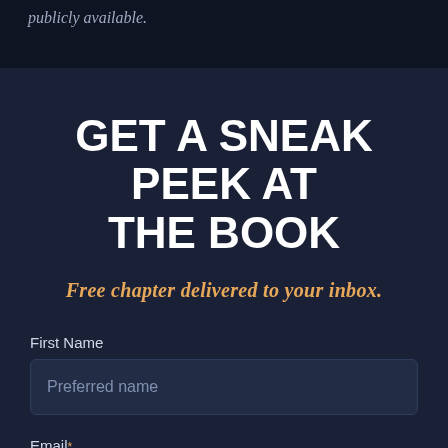publicly available.
GET A SNEAK PEEK AT THE BOOK
Free chapter delivered to your inbox.
First Name
Preferred name
Email*